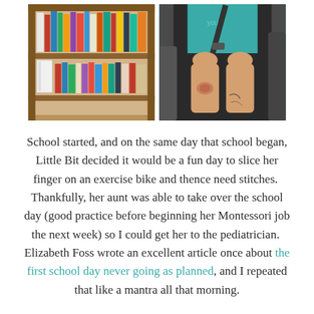[Figure (photo): Two photos side by side: left photo shows a wooden bookshelf filled with books and binders; right photo shows a young child in a teal top sitting in a car seat with a scraped knee visible.]
School started, and on the same day that school began, Little Bit decided it would be a fun day to slice her finger on an exercise bike and thence need stitches.  Thankfully, her aunt was able to take over the school day (good practice before beginning her Montessori job the next week) so I could get her to the pediatrician.  Elizabeth Foss wrote an excellent article once about the first school day never going as planned, and I repeated that like a mantra all that morning.